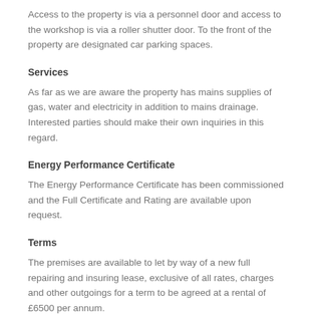Access to the property is via a personnel door and access to the workshop is via a roller shutter door. To the front of the property are designated car parking spaces.
Services
As far as we are aware the property has mains supplies of gas, water and electricity in addition to mains drainage. Interested parties should make their own inquiries in this regard.
Energy Performance Certificate
The Energy Performance Certificate has been commissioned and the Full Certificate and Rating are available upon request.
Terms
The premises are available to let by way of a new full repairing and insuring lease, exclusive of all rates, charges and other outgoings for a term to be agreed at a rental of £6500 per annum.
The landlord reserves their right to request a rental deposit.